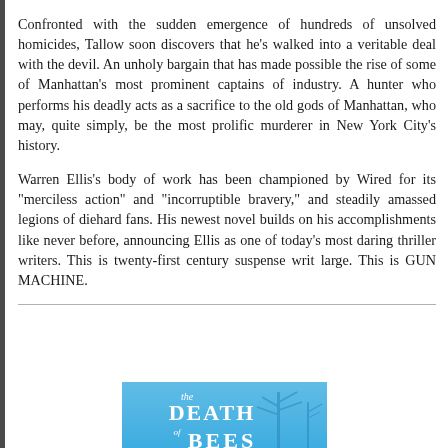Confronted with the sudden emergence of hundreds of unsolved homicides, Tallow soon discovers that he's walked into a veritable deal with the devil. An unholy bargain that has made possible the rise of some of Manhattan's most prominent captains of industry. A hunter who performs his deadly acts as a sacrifice to the old gods of Manhattan, who may, quite simply, be the most prolific murderer in New York City's history.
Warren Ellis's body of work has been championed by Wired for its "merciless action" and "incorruptible bravery," and steadily amassed legions of diehard fans. His newest novel builds on his accomplishments like never before, announcing Ellis as one of today's most daring thriller writers. This is twenty-first century suspense writ large. This is GUN MACHINE.
[Figure (illustration): Book cover of 'The Death of Bees' — a blue cover with silhouetted bare trees and large white text.]